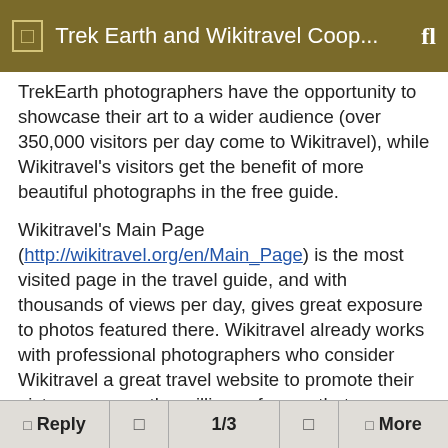Trek Earth and Wikitravel Coop...
TrekEarth photographers have the opportunity to showcase their art to a wider audience (over 350,000 visitors per day come to Wikitravel), while Wikitravel's visitors get the benefit of more beautiful photographs in the free guide.
Wikitravel's Main Page (http://wikitravel.org/en/Main_Page) is the most visited page in the travel guide, and with thousands of views per day, gives great exposure to photos featured there. Wikitravel already works with professional photographers who consider Wikitravel a great travel website to promote their pictures among the millions of users that Wikitravel has each month. One of those users is our own TrekEarth lead moderator Porteplume (http://wikitravel.org/en/User:Porteplume), who has
Reply | 1/3 | More